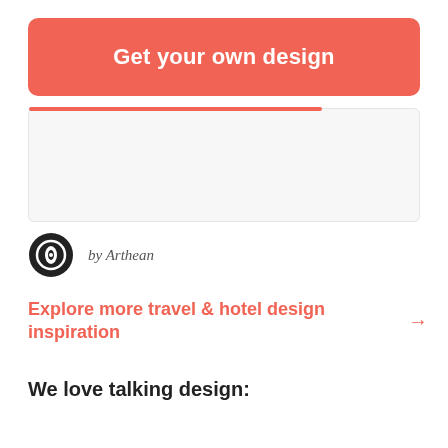Get your own design
[Figure (other): Empty card/content box placeholder with a red accent line at the top]
by Arthean
Explore more travel & hotel design inspiration →
We love talking design: